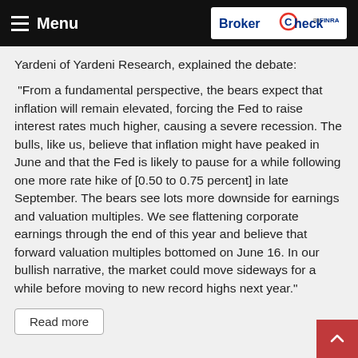Menu | BrokerCheck by FINRA
Yardeni of Yardeni Research, explained the debate:
“From a fundamental perspective, the bears expect that inflation will remain elevated, forcing the Fed to raise interest rates much higher, causing a severe recession. The bulls, like us, believe that inflation might have peaked in June and that the Fed is likely to pause for a while following one more rate hike of [0.50 to 0.75 percent] in late September. The bears see lots more downside for earnings and valuation multiples. We see flattening corporate earnings through the end of this year and believe that forward valuation multiples bottomed on June 16. In our bullish narrative, the market could move sideways for a while before moving to new record highs next year.”
Read more